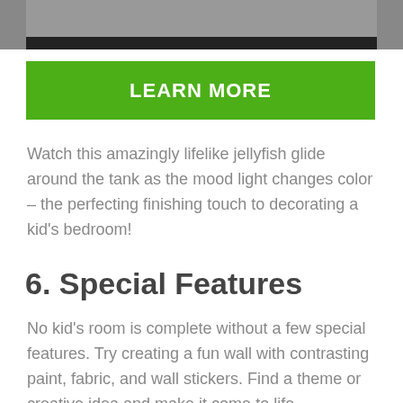[Figure (photo): Partial photo at top of page showing a dark-themed scene, cropped at top.]
LEARN MORE
Watch this amazingly lifelike jellyfish glide around the tank as the mood light changes color – the perfecting finishing touch to decorating a kid's bedroom!
6. Special Features
No kid's room is complete without a few special features. Try creating a fun wall with contrasting paint, fabric, and wall stickers. Find a theme or creative idea and make it come to life.